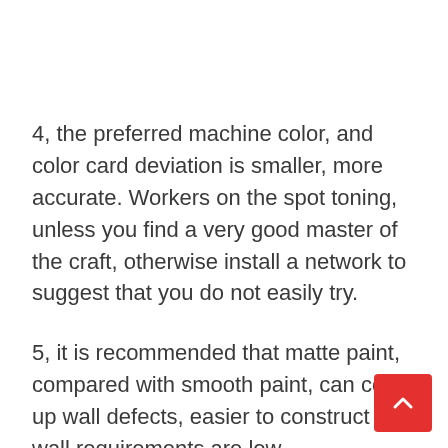4, the preferred machine color, and color card deviation is smaller, more accurate. Workers on the spot toning, unless you find a very good master of the craft, otherwise install a network to suggest that you do not easily try.
5, it is recommended that matte paint, compared with smooth paint, can cover up wall defects, easier to construct the wall requirements are low.
6, be sure to reserve paint, in order to prevent late cracking complementary color situation.